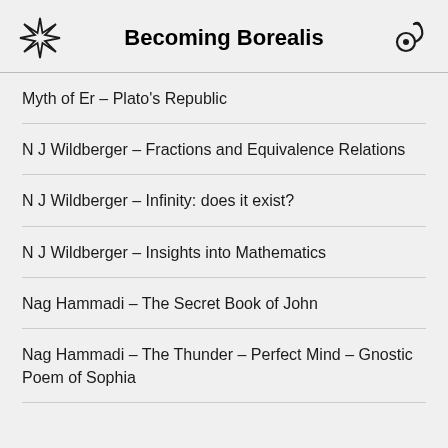Becoming Borealis
Myth of Er – Plato's Republic
N J Wildberger – Fractions and Equivalence Relations
N J Wildberger – Infinity: does it exist?
N J Wildberger – Insights into Mathematics
Nag Hammadi – The Secret Book of John
Nag Hammadi – The Thunder – Perfect Mind – Gnostic Poem of Sophia